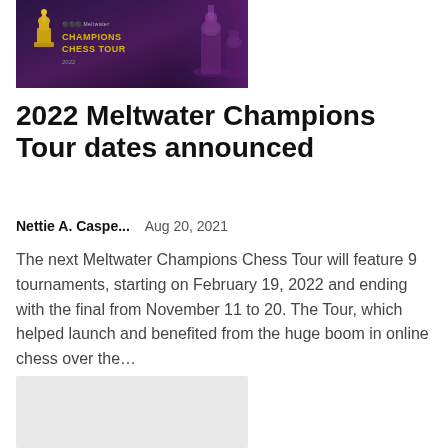[Figure (photo): Chess Champions Tour promotional banner with dark purple background, yellow chess piece icon on the left, and text reading 'Meltwater CHAMPIONS CHESS TOUR 2022' in gold/yellow. Chess pieces silhouettes visible on the right side.]
2022 Meltwater Champions Tour dates announced
Nettie A. Caspe...    Aug 20, 2021
The next Meltwater Champions Chess Tour will feature 9 tournaments, starting on February 19, 2022 and ending with the final from November 11 to 20. The Tour, which helped launch and benefited from the huge boom in online chess over the...
[Figure (photo): Second article thumbnail image — light gray placeholder rectangle.]